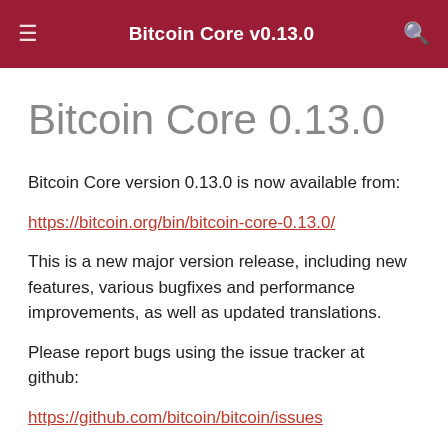Bitcoin Core v0.13.0 — Bitcoin Core Documentation
Bitcoin Core 0.13.0
Bitcoin Core version 0.13.0 is now available from:
https://bitcoin.org/bin/bitcoin-core-0.13.0/
This is a new major version release, including new features, various bugfixes and performance improvements, as well as updated translations.
Please report bugs using the issue tracker at github:
https://github.com/bitcoin/bitcoin/issues
To receive security and update notifications, please